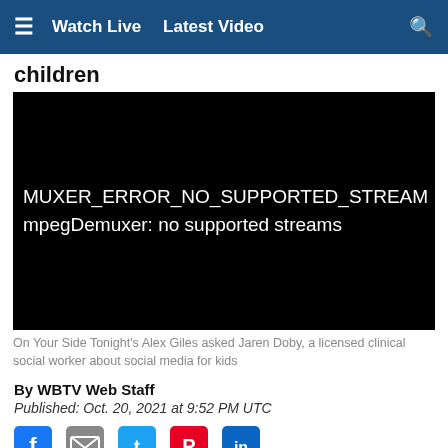≡  Watch Live  Latest Video  🔍
children
[Figure (screenshot): Black video player showing error text: MUXER_ERROR_NO_SUPPORTED_STREAM and mpegDemuxer: no supported streams]
On Your Side Tonight's Alex Giles asked Jaren Doby, a licensed clinical social worker about social media for kids
By WBTV Web Staff
Published: Oct. 20, 2021 at 9:52 PM UTC
[Figure (illustration): Social media share icons: Facebook, Mail, Twitter, Pinterest, LinkedIn]